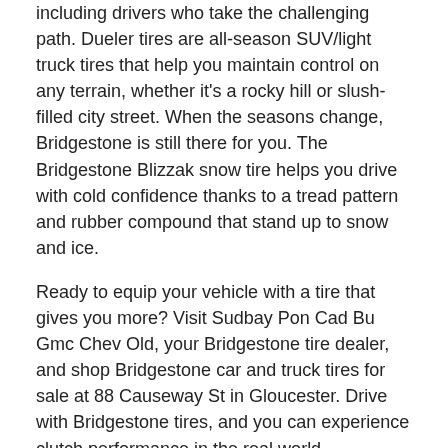including drivers who take the challenging path. Dueler tires are all-season SUV/light truck tires that help you maintain control on any terrain, whether it's a rocky hill or slush-filled city street. When the seasons change, Bridgestone is still there for you. The Bridgestone Blizzak snow tire helps you drive with cold confidence thanks to a tread pattern and rubber compound that stand up to snow and ice.
Ready to equip your vehicle with a tire that gives you more? Visit Sudbay Pon Cad Bu Gmc Chev Old, your Bridgestone tire dealer, and shop Bridgestone car and truck tires for sale at 88 Causeway St in Gloucester. Drive with Bridgestone tires, and you can experience clutch performance in the real world.
YOU CAN BUY BRIDGESTONE TIRES ON CAUSEWAY ST IN GLOUCESTER, MA
Buy Bridgestone tires at one of the best places to buy tires in Gloucester. Sudbay Pon Cad Bu Gmc Chev Old M...